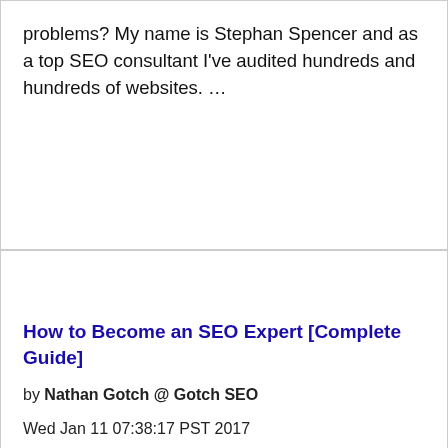problems? My name is Stephan Spencer and as a top SEO consultant I've audited hundreds and hundreds of websites. …
How to Become an SEO Expert [Complete Guide]
by Nathan Gotch @ Gotch SEO
Wed Jan 11 07:38:17 PST 2017
Are you wondering what steps you need to take become an SEO expert? Perfect because this